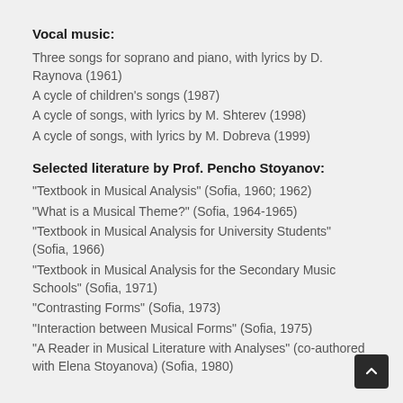Vocal music:
Three songs for soprano and piano, with lyrics by D. Raynova (1961)
A cycle of children's songs (1987)
A cycle of songs, with lyrics by M. Shterev (1998)
A cycle of songs, with lyrics by M. Dobreva (1999)
Selected literature by Prof. Pencho Stoyanov:
“Textbook in Musical Analysis” (Sofia, 1960; 1962)
“What is a Musical Theme?” (Sofia, 1964-1965)
“Textbook in Musical Analysis for University Students” (Sofia, 1966)
“Textbook in Musical Analysis for the Secondary Music Schools” (Sofia, 1971)
“Contrasting Forms” (Sofia, 1973)
“Interaction between Musical Forms” (Sofia, 1975)
“A Reader in Musical Literature with Analyses” (co-authored with Elena Stoyanova) (Sofia, 1980)